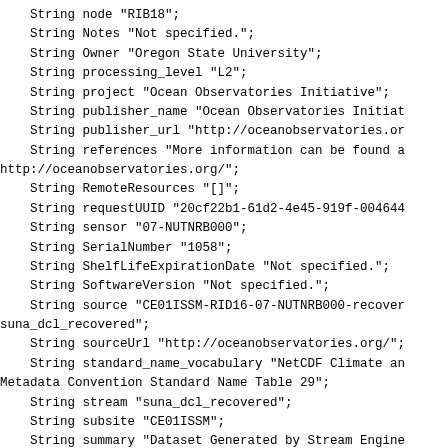String node "RIB18";
    String Notes "Not specified.";
    String Owner "Oregon State University";
    String processing_level "L2";
    String project "Ocean Observatories Initiative";
    String publisher_name "Ocean Observatories Initiat
    String publisher_url "http://oceanobservatories.or
    String references "More information can be found a
http://oceanobservatories.org/";
    String RemoteResources "[]";
    String requestUUID "20cf22b1-61d2-4e45-919f-004644
    String sensor "07-NUTNRB000";
    String SerialNumber "1058";
    String ShelfLifeExpirationDate "Not specified.";
    String SoftwareVersion "Not specified.";
    String source "CE01ISSM-RID16-07-NUTNRB000-recover
suna_dcl_recovered";
    String sourceUrl "http://oceanobservatories.org/";
    String standard_name_vocabulary "NetCDF Climate an
Metadata Convention Standard Name Table 29";
    String stream "suna_dcl_recovered";
    String subsite "CE01ISSM";
    String summary "Dataset Generated by Stream Engine
Observatories Initiative";
    String time_coverage_end "2019-10-22T23:32:20Z";
    String time_coverage_resolution "P897.19S";